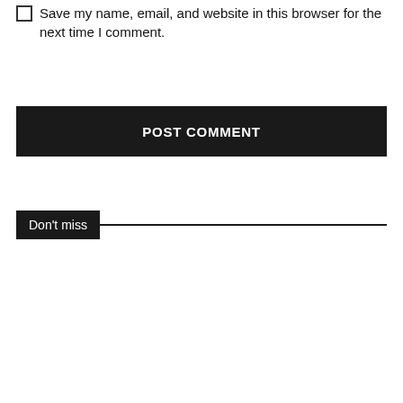Save my name, email, and website in this browser for the next time I comment.
POST COMMENT
Don't miss